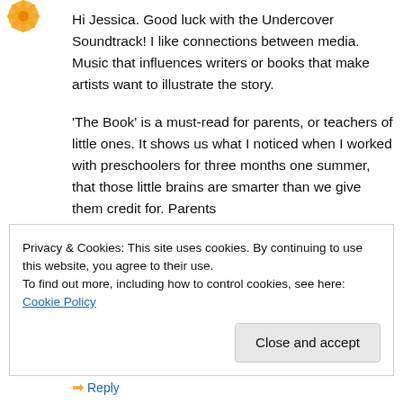[Figure (illustration): Orange decorative avatar/logo icon in the top-left corner]
Hi Jessica. Good luck with the Undercover Soundtrack! I like connections between media. Music that influences writers or books that make artists want to illustrate the story.

'The Book' is a must-read for parents, or teachers of little ones. It shows us what I noticed when I worked with preschoolers for three months one summer, that those little brains are smarter than we give them credit for. Parents
Privacy & Cookies: This site uses cookies. By continuing to use this website, you agree to their use.
To find out more, including how to control cookies, see here: Cookie Policy
Close and accept
Reply